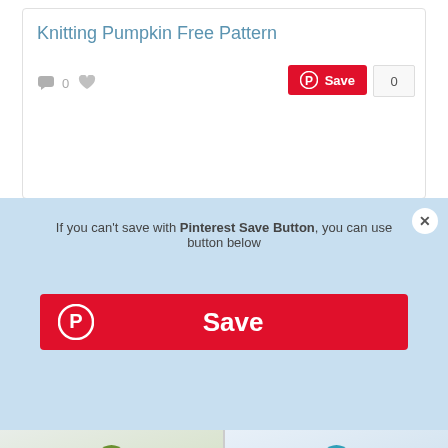Knitting Pumpkin Free Pattern
0
Save  0
If you can't save with Pinterest Save Button, you can use button below
Save
[Figure (photo): Four crochet flower photos in a 2x2 grid: top-left is a pink/red/orange layered flower with green leaf base, top-right is a purple/blue layered flower with teal leaf base and yellow center, bottom-left is a red flower with green leaves, bottom-right is an orange/red small flower or berry cluster.]